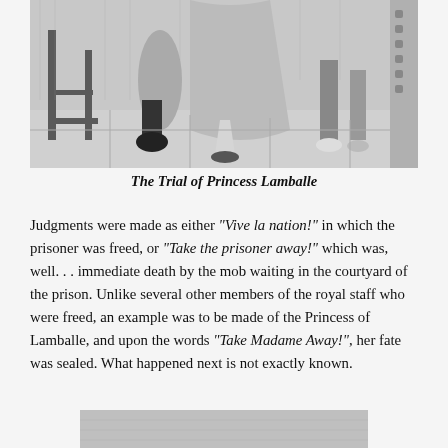[Figure (illustration): Black and white engraving showing lower bodies and legs of figures in historical dress, seated or standing near a stool and what appears to be a prison or court setting. Partial view cropped at top.]
The Trial of Princess Lamballe
Judgments were made as either "Vive la nation!" in which the prisoner was freed, or "Take the prisoner away!" which was, well... immediate death by the mob waiting in the courtyard of the prison. Unlike several other members of the royal staff who were freed, an example was to be made of the Princess of Lamballe, and upon the words "Take Madame Away!", her fate was sealed. What happened next is not exactly known.
[Figure (illustration): Partial view of another black and white illustration at the bottom of the page, mostly cropped off.]